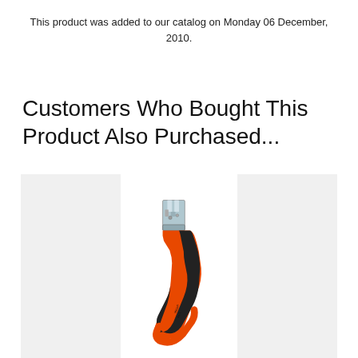This product was added to our catalog on Monday 06 December, 2010.
Customers Who Bought This Product Also Purchased...
[Figure (photo): A close-up photo of a hand tool (wire stripper or cable cutter) with an orange and black ergonomic handle and a metal blade/jaw at the top, shown against a white background inside a light grey container box.]